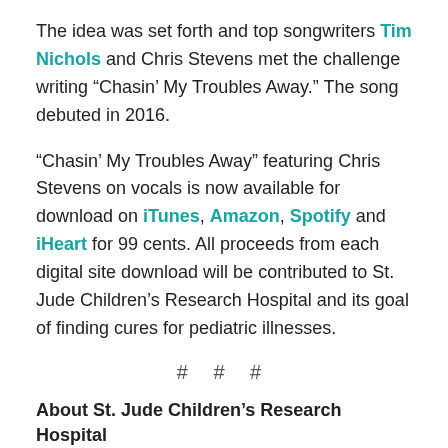The idea was set forth and top songwriters Tim Nichols and Chris Stevens met the challenge writing “Chasin’ My Troubles Away.”  The song debuted in 2016.
“Chasin’ My Troubles Away” featuring Chris Stevens on vocals is now available for download on iTunes, Amazon, Spotify and iHeart for 99 cents. All proceeds from each digital site download will be contributed to St. Jude Children’s Research Hospital and its goal of finding cures for pediatric illnesses.
# # #
About St. Jude Children’s Research Hospital
Founded in Memphis in 1962, St. Jude Children's Research Hospital is a nonprofit pediatric treatment and research facility focused on advancing the cures, and means of prevention, for children's catastrophic diseases. The organization also provides